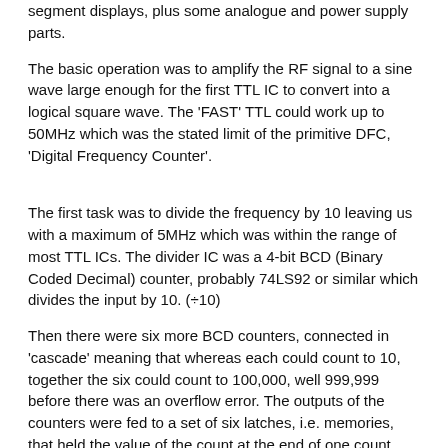segment displays, plus some analogue and power supply parts.
The basic operation was to amplify the RF signal to a sine wave large enough for the first TTL IC to convert into a logical square wave. The 'FAST' TTL could work up to 50MHz which was the stated limit of the primitive DFC, 'Digital Frequency Counter'.
The first task was to divide the frequency by 10 leaving us with a maximum of 5MHz which was within the range of most TTL ICs. The divider IC was a 4-bit BCD (Binary Coded Decimal) counter, probably 74LS92 or similar which divides the input by 10. (÷10)
Then there were six more BCD counters, connected in 'cascade' meaning that whereas each could count to 10, together the six could count to 100,000, well 999,999 before there was an overflow error. The outputs of the counters were fed to a set of six latches, i.e. memories, that held the value of the count at the end of one count period, which happened every 0.1 seconds or 100mS.
So if we were to look at 27,125,000Hz, a HF CB radio channel, divided by 10 results in 2,712,500Hz, then counting that frequency for 100mS would give us a number of 271250 in the latches.